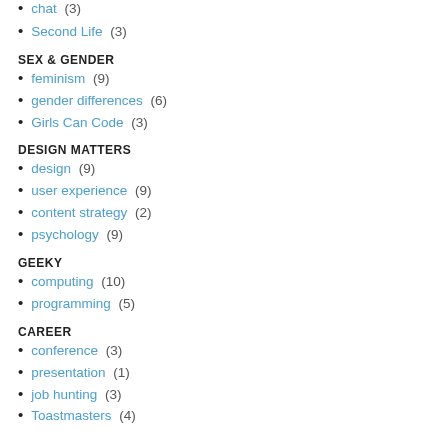chat (3)
Second Life (3)
SEX & GENDER
feminism (9)
gender differences (6)
Girls Can Code (3)
DESIGN MATTERS
design (9)
user experience (9)
content strategy (2)
psychology (9)
GEEKY
computing (10)
programming (5)
CAREER
conference (3)
presentation (1)
job hunting (3)
Toastmasters (4)